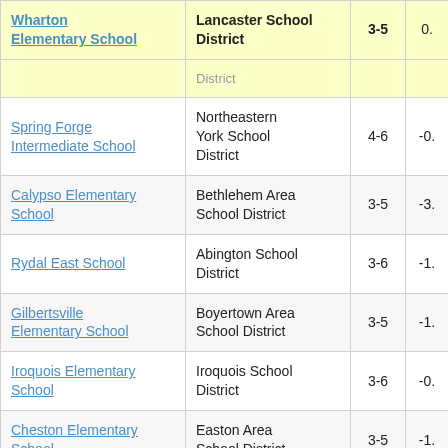| School | District | Grades | Value |
| --- | --- | --- | --- |
| Wharton Elementary School | Lancaster School District | 3-5 | 0. |
|  | District |  |  |
| Spring Forge Intermediate School | Northeastern York School District | 4-6 | -0. |
| Calypso Elementary School | Bethlehem Area School District | 3-5 | -3. |
| Rydal East School | Abington School District | 3-6 | -1. |
| Gilbertsville Elementary School | Boyertown Area School District | 3-5 | -1. |
| Iroquois Elementary School | Iroquois School District | 3-6 | -0. |
| Cheston Elementary School | Easton Area School District | 3-5 | -1. |
| Rock L Butler Middle School | Wellsboro Area School District | 5-8 | -0. |